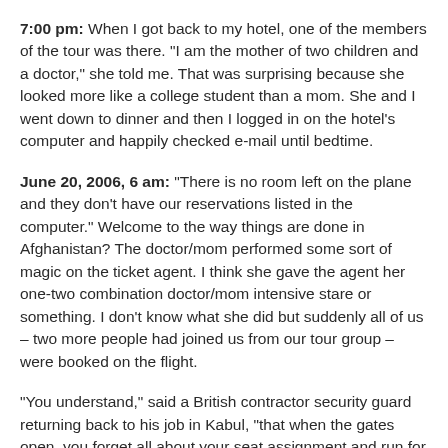7:00 pm: When I got back to my hotel, one of the members of the tour was there. "I am the mother of two children and a doctor," she told me. That was surprising because she looked more like a college student than a mom. She and I went down to dinner and then I logged in on the hotel's computer and happily checked e-mail until bedtime.
June 20, 2006, 6 am: "There is no room left on the plane and they don't have our reservations listed in the computer." Welcome to the way things are done in Afghanistan? The doctor/mom performed some sort of magic on the ticket agent. I think she gave the agent her one-two combination doctor/mom intensive stare or something. I don't know what she did but suddenly all of us – two more people had joined us from our tour group – were booked on the flight.
"You understand," said a British contractor security guard returning back to his job in Kabul, "that when the gates open, you forget all about your seat assignment and run for the plane. This isn't America." Oh. So that's how the seats suddenly became available – they've opened them up to